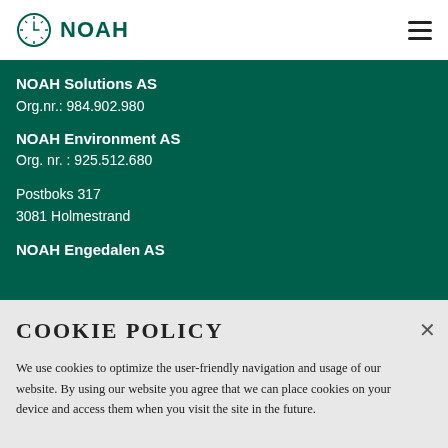NOAH
NOAH Solutions AS
Org.nr.: 984.902.980
NOAH Environment AS
Org. nr. : 925.512.680
Postboks 317
3081 Holmestrand
NOAH Engedalen AS
COOKIE POLICY
We use cookies to optimize the user-friendly navigation and usage of our website. By using our website you agree that we can place cookies on your device and access them when you visit the site in the future.